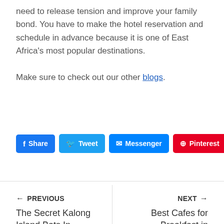need to release tension and improve your family bond. You have to make the hotel reservation and schedule in advance because it is one of East Africa's most popular destinations.
Make sure to check out our other blogs.
[Figure (infographic): Social share buttons: Share (Facebook), Tweet (Twitter), Messenger, Pinterest, Tumblr]
PREVIOUS — The Secret Kalong Island Bats In Indonesia | NEXT → Best Cafes for Breakfast in Ljubljana